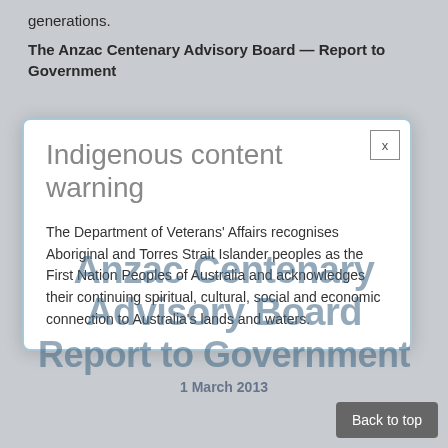generations.
The Anzac Centenary Advisory Board — Report to Government
Anzac Centenary Advisory Board Report to Government
1 March 2013
Indigenous content warning
The Department of Veterans' Affairs recognises Aboriginal and Torres Strait Islander peoples as the First Nation Peoples of Australia and acknowledges their continuing spiritual, cultural, social and economic connection to Australia's lands and waters.
Back to top